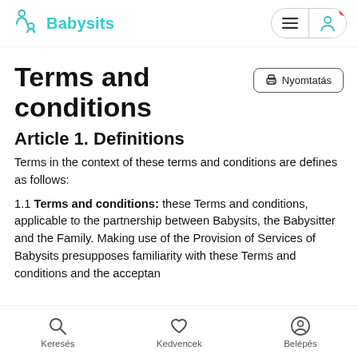Babysits
Terms and conditions
Article 1. Definitions
Terms in the context of these terms and conditions are defines as follows:
1.1 Terms and conditions: these Terms and conditions, applicable to the partnership between Babysits, the Babysitter and the Family. Making use of the Provision of Services of Babysits presupposes familiarity with these Terms and conditions and the acceptance
Keresés   Kedvencek   Belépés